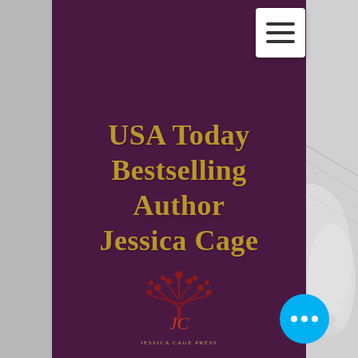[Figure (screenshot): Website screenshot of USA Today Bestselling Author Jessica Cage. Dark purple panel on center-left with gold text title and a red tree logo. White hamburger menu button top right. Blue chat button bottom right. Gray book/leather background visible on sides.]
USA Today Bestselling Author Jessica Cage
[Figure (logo): Jessica Cage Publishing Group logo: a red stylized tree above an ornate red JC monogram, with small text below reading 'JESSICA CAGE PRESS']